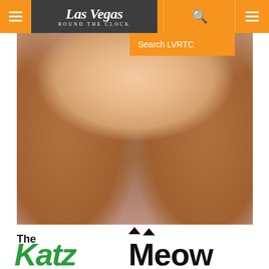Las Vegas Round The Clock — navigation header with hamburger menus and search
[Figure (photo): Close-up portrait photo of a smiling woman with long blonde hair and drop earrings]
Search LVRTC
[Figure (logo): The Katz Meow logo — green and black stylized text with cat face graphic]